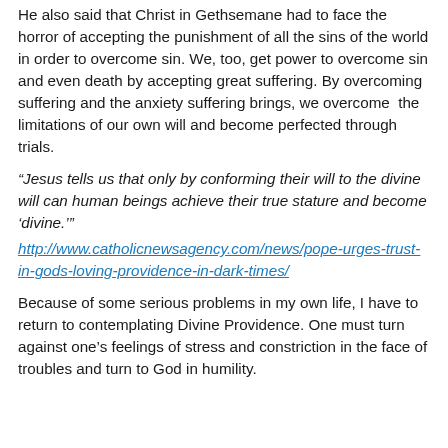He also said that Christ in Gethsemane had to face the horror of accepting the punishment of all the sins of the world in order to overcome sin. We, too, get power to overcome sin and even death by accepting great suffering. By overcoming suffering and the anxiety suffering brings, we overcome the limitations of our own will and become perfected through trials.
“Jesus tells us that only by conforming their will to the divine will can human beings achieve their true stature and become ‘divine.’”
http://www.catholicnewsagency.com/news/pope-urges-trust-in-gods-loving-providence-in-dark-times/
Because of some serious problems in my own life, I have to return to contemplating Divine Providence. One must turn against one’s feelings of stress and constriction in the face of troubles and turn to God in humility.